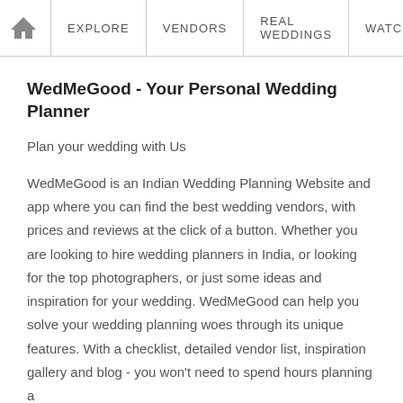EXPLORE | VENDORS | REAL WEDDINGS | WATCH
WedMeGood - Your Personal Wedding Planner
Plan your wedding with Us
WedMeGood is an Indian Wedding Planning Website and app where you can find the best wedding vendors, with prices and reviews at the click of a button. Whether you are looking to hire wedding planners in India, or looking for the top photographers, or just some ideas and inspiration for your wedding. WedMeGood can help you solve your wedding planning woes through its unique features. With a checklist, detailed vendor list, inspiration gallery and blog - you won't need to spend hours planning a
NEXT READ
Crazy, Fun–Filled Wedding In Goa!